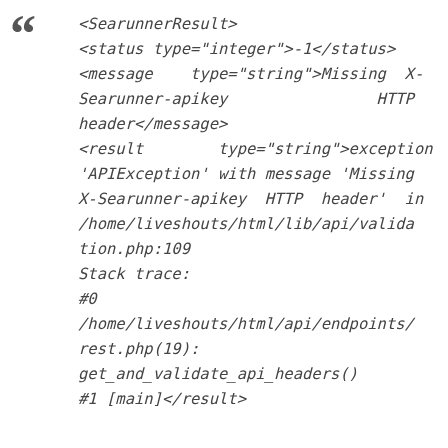<SearunnerResult>
<status type="integer">-1</status>
<message type="string">Missing X-Searunner-apikey HTTP header</message>
<result type="string">exception 'APIException' with message 'Missing X-Searunner-apikey HTTP header' in /home/liveshouts/html/lib/api/validation.php:109
Stack trace:
#0
/home/liveshouts/html/api/endpoints/rest.php(19):
get_and_validate_api_headers()
#1 [main]</result>